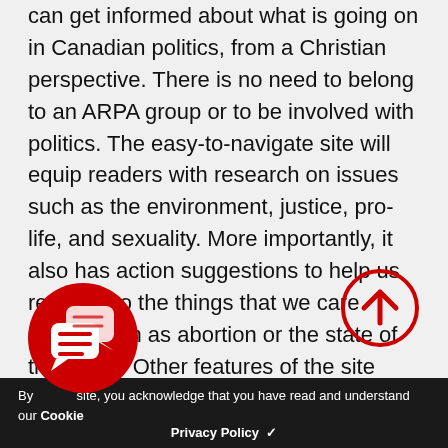Through the new website www.arpacanada.ca, any body can get informed about what is going on in Canadian politics, from a Christian perspective. There is no need to belong to an ARPA group or to be involved with politics. The easy-to-navigate site will equip readers with research on issues such as the environment, justice, pro-life, and sexuality. More importantly, it also has action suggestions to help us respond to the things that we care about, such as abortion or the state of the family. Other features of the site include videos, an events calendar, information on local ARPA groups in your area, and the option to subscribe to a free e-newsletter that will be sent to you every two weeks and keep you informed.
By using this site, you acknowledge that you have read and understand our Cookie Privacy Policy ✓